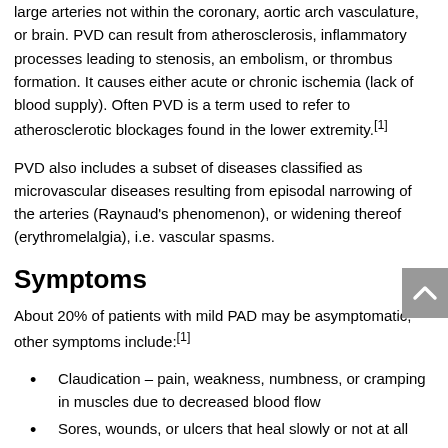large arteries not within the coronary, aortic arch vasculature, or brain. PVD can result from atherosclerosis, inflammatory processes leading to stenosis, an embolism, or thrombus formation. It causes either acute or chronic ischemia (lack of blood supply). Often PVD is a term used to refer to atherosclerotic blockages found in the lower extremity.[1]
PVD also includes a subset of diseases classified as microvascular diseases resulting from episodal narrowing of the arteries (Raynaud’s phenomenon), or widening thereof (erythromelalgia), i.e. vascular spasms.
Symptoms
About 20% of patients with mild PAD may be asymptomatic; other symptoms include:[1]
Claudication – pain, weakness, numbness, or cramping in muscles due to decreased blood flow
Sores, wounds, or ulcers that heal slowly or not at all